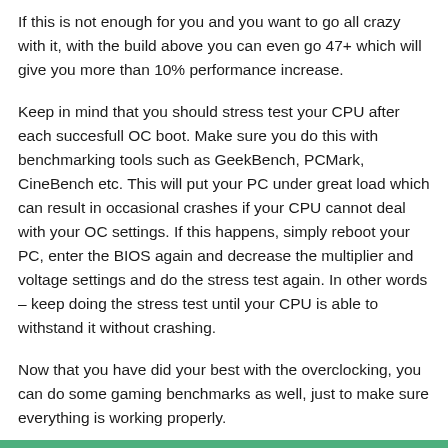If this is not enough for you and you want to go all crazy with it, with the build above you can even go 47+ which will give you more than 10% performance increase.
Keep in mind that you should stress test your CPU after each succesfull OC boot. Make sure you do this with benchmarking tools such as GeekBench, PCMark, CineBench etc. This will put your PC under great load which can result in occasional crashes if your CPU cannot deal with your OC settings. If this happens, simply reboot your PC, enter the BIOS again and decrease the multiplier and voltage settings and do the stress test again. In other words – keep doing the stress test until your CPU is able to withstand it without crashing.
Now that you have did your best with the overclocking, you can do some gaming benchmarks as well, just to make sure everything is working properly.